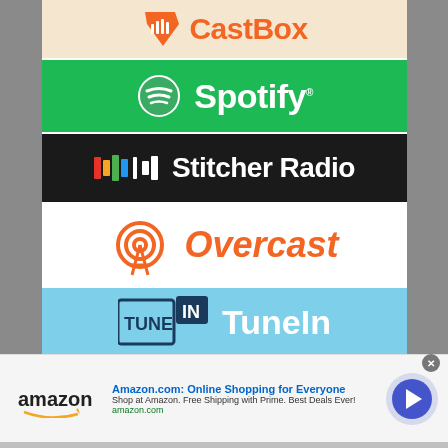[Figure (logo): CastBox podcast app banner with orange shield icon and orange CastBox text on light peach background]
[Figure (logo): Spotify banner with white circular logo and white Spotify text on green background]
[Figure (logo): Stitcher Radio banner with colorful bar icon and white text on black background]
[Figure (logo): Overcast podcast app banner with orange antenna/wifi icon and orange italic Overcast text on white background]
[Figure (logo): TuneIn banner with TuneIn logo and white TuneIn text on light blue background]
[Figure (infographic): Amazon advertisement banner: Amazon.com: Online Shopping for Everyone. Shop at Amazon. Free Shipping with Prime. Best Deals Ever! amazon.com]